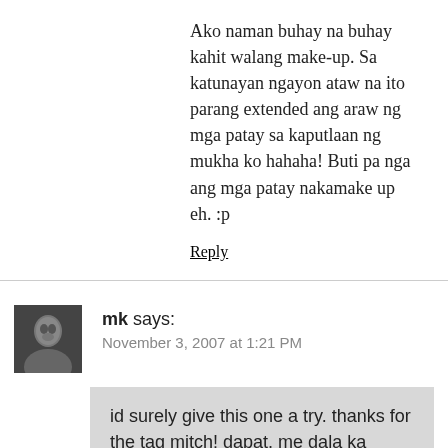Ako naman buhay na buhay kahit walang make-up. Sa katunayan ngayon ataw na ito parang extended ang araw ng mga patay sa kaputlaan ng mukha ko hahaha! Buti pa nga ang mga patay nakamake up eh. :p
Reply
mk says:
November 3, 2007 at 1:21 PM
id surely give this one a try. thanks for the tag mitch! dapat, me dala ka palang tumbler ng coke everywhere u go. baka maging sexy ka lalo pahg ala cola sa meals u, hehe